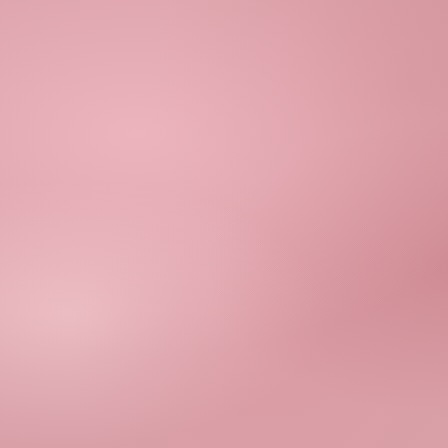[Figure (illustration): Pink textured background covering the left portion of the page, with mottled rose/blush tones resembling aged paper or fabric.]
Labels: A-Zchalleng...
Wednesday, April 20,
Q is for Q...
~Note: My standard... endorse Quagmire ... with Quasimodo bu...
Quagmire struts in ... reveal red silk spee...